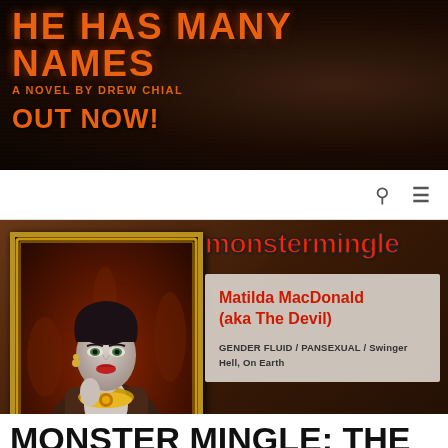HE HAS MANY NAMES
A NOVEL BY DREW CHIAL
OUT NOW!
[Figure (screenshot): Website screenshot showing a book/blog header banner for 'He Has Many Names, A Novel by Drew Chial, Out Now!' in orange text on dark background, followed by a content area featuring a painting of a woman in a gold frame (Matilda MacDonald) alongside a monstermingle dating profile card.]
monstermingle
Matilda MacDonald
(aka The Devil)
GENDER FLUID / PANSEXUAL / Swinger
Hell, On Earth
AUDIO SHORTS, BLOG, FEATURED, SHORTS, WRITING
MONSTER MINGLE: THE